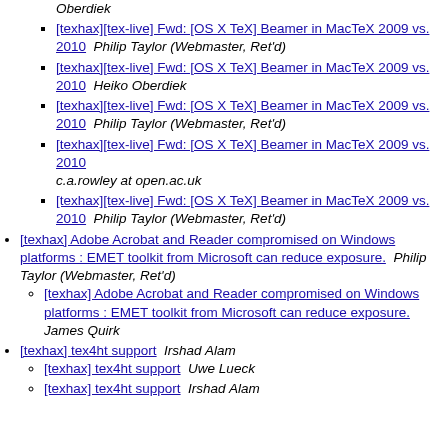[texhax][tex-live] Fwd: [OS X TeX] Beamer in MacTeX 2009 vs. 2010  Philip Taylor (Webmaster, Ret'd)
[texhax][tex-live] Fwd: [OS X TeX] Beamer in MacTeX 2009 vs. 2010  Heiko Oberdiek
[texhax][tex-live] Fwd: [OS X TeX] Beamer in MacTeX 2009 vs. 2010  Philip Taylor (Webmaster, Ret'd)
[texhax][tex-live] Fwd: [OS X TeX] Beamer in MacTeX 2009 vs. 2010  c.a.rowley at open.ac.uk
[texhax][tex-live] Fwd: [OS X TeX] Beamer in MacTeX 2009 vs. 2010  Philip Taylor (Webmaster, Ret'd)
[texhax] Adobe Acrobat and Reader compromised on Windows platforms : EMET toolkit from Microsoft can reduce exposure.  Philip Taylor (Webmaster, Ret'd)
[texhax] Adobe Acrobat and Reader compromised on Windows platforms : EMET toolkit from Microsoft can reduce exposure.  James Quirk
[texhax] tex4ht support  Irshad Alam
[texhax] tex4ht support  Uwe Lueck
[texhax] tex4ht support  Irshad Alam